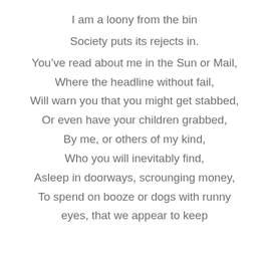I am a loony from the bin
Society puts its rejects in.
You've read about me in the Sun or Mail,
Where the headline without fail,
Will warn you that you might get stabbed,
Or even have your children grabbed,
By me, or others of my kind,
Who you will inevitably find,
Asleep in doorways, scrounging money,
To spend on booze or dogs with runny
eyes, that we appear to keep